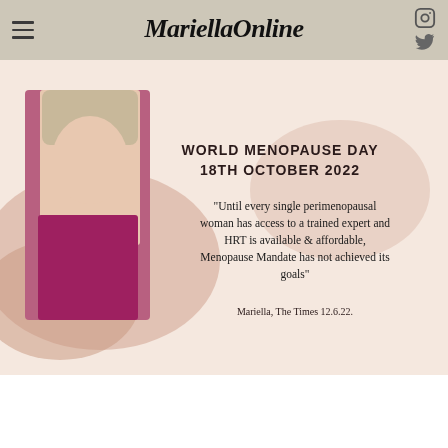MariellaOnline
[Figure (photo): World Menopause Day 18th October 2022 promotional image featuring a photo of Mariella Frostrup on the left side against a peach/blush background with a quote: 'Until every single perimenopausal woman has access to a trained expert and HRT is available & affordable, Menopause Mandate has not achieved its goals' - Mariella, The Times 12.6.22.]